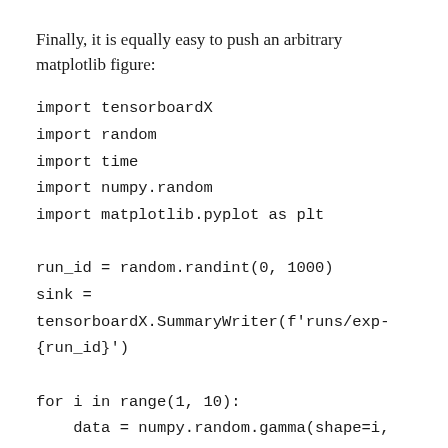Finally, it is equally easy to push an arbitrary matplotlib figure:
import tensorboardX
import random
import time
import numpy.random
import matplotlib.pyplot as plt

run_id = random.randint(0, 1000)
sink =
tensorboardX.SummaryWriter(f'runs/exp-{run_id}')

for i in range(1, 10):
    data = numpy.random.gamma(shape=i,
scale=4.0, size=1000)